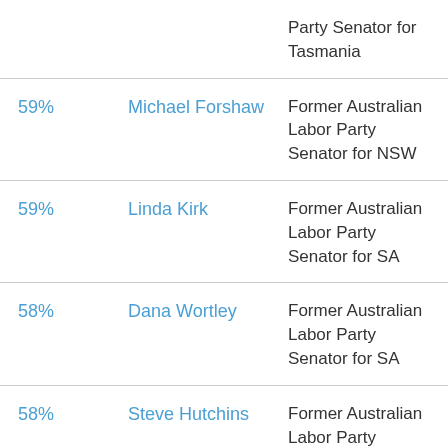|  | Name | Role |
| --- | --- | --- |
|  |  | Party Senator for Tasmania |
| 59% | Michael Forshaw | Former Australian Labor Party Senator for NSW |
| 59% | Linda Kirk | Former Australian Labor Party Senator for SA |
| 58% | Dana Wortley | Former Australian Labor Party Senator for SA |
| 58% | Steve Hutchins | Former Australian Labor Party Senator for NSW |